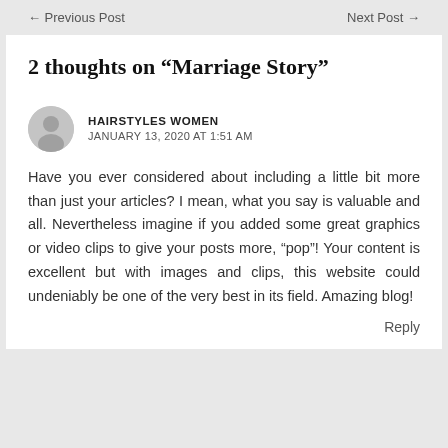← Previous Post    Next Post →
2 thoughts on “Marriage Story”
HAIRSTYLES WOMEN
JANUARY 13, 2020 AT 1:51 AM
Have you ever considered about including a little bit more than just your articles? I mean, what you say is valuable and all. Nevertheless imagine if you added some great graphics or video clips to give your posts more, “pop”! Your content is excellent but with images and clips, this website could undeniably be one of the very best in its field. Amazing blog!
Reply